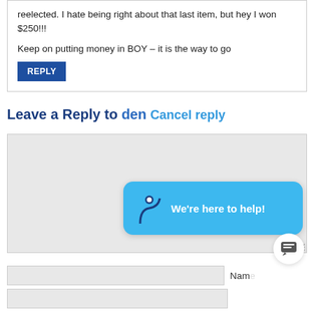reelected. I hate being right about that last item, but hey I won $250!!!

Keep on putting money in BOY – it is the way to go
REPLY
Leave a Reply to den Cancel reply
[Figure (screenshot): A comment text area input box with a light gray background, showing a chat widget overlay with a blue rounded bubble saying 'We're here to help!' with a logo icon, and a white circular chat button with a message icon below it.]
Name
(email input field, partial)